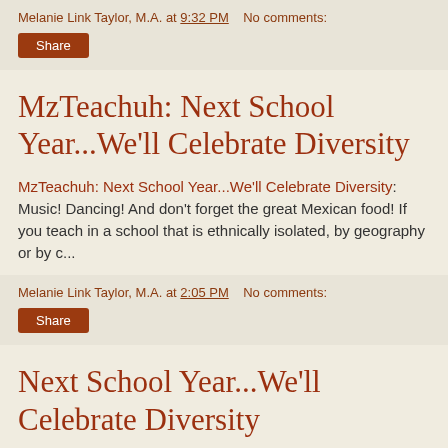Melanie Link Taylor, M.A. at 9:32 PM   No comments:
Share
MzTeachuh: Next School Year...We'll Celebrate Diversity
MzTeachuh: Next School Year...We'll Celebrate Diversity: Music! Dancing! And don't forget the great Mexican food! If you teach in a school that is ethnically isolated, by geography or by c...
Melanie Link Taylor, M.A. at 2:05 PM   No comments:
Share
Next School Year...We'll Celebrate Diversity